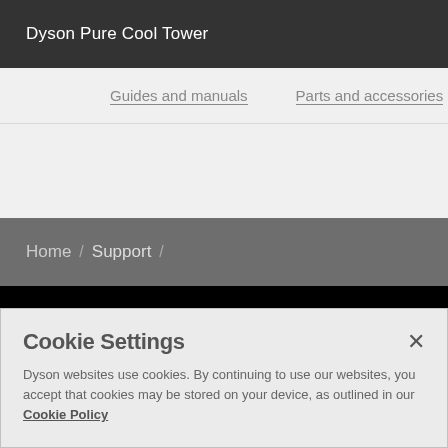Dyson Pure Cool Tower
Guides and manuals   Parts and accessories
Home / Support /
United States
Change language or region
Cookie Settings
Dyson websites use cookies. By continuing to use our websites, you accept that cookies may be stored on your device, as outlined in our Cookie Policy